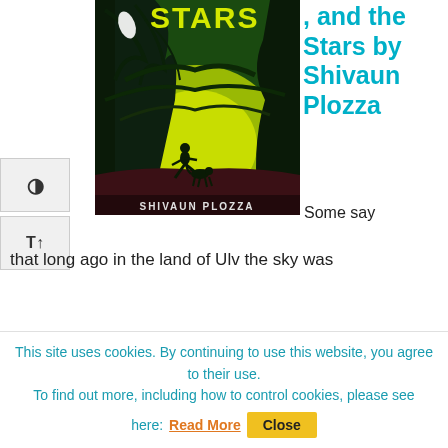[Figure (illustration): Book cover illustration showing a dark fantasy forest scene with glowing green trees and a running figure silhouette. Text at top reads 'STARS' in yellow, author name 'SHIVAUN PLOZZA' at bottom.]
, and the Stars by Shivaun Plozza
Some say that long ago in the land of Ulv the sky was
This site uses cookies. By continuing to use this website, you agree to their use.
To find out more, including how to control cookies, please see here: Read More